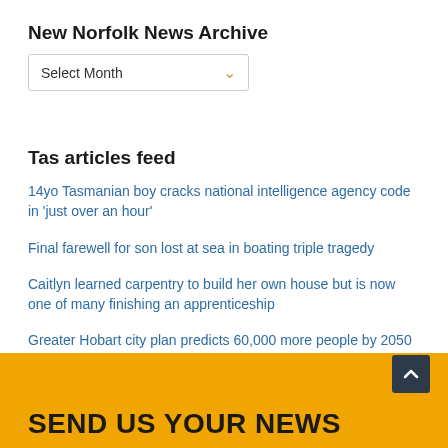New Norfolk News Archive
Select Month
Tas articles feed
14yo Tasmanian boy cracks national intelligence agency code in 'just over an hour'
Final farewell for son lost at sea in boating triple tragedy
Caitlyn learned carpentry to build her own house but is now one of many finishing an apprenticeship
Greater Hobart city plan predicts 60,000 more people by 2050
The e-changer exodus that may have altered regional Australia forever
SEND US YOUR NEWS